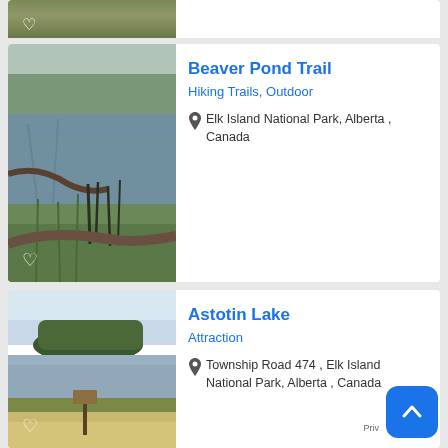[Figure (photo): Partial top card showing a nature/trail photo (cropped at top of page)]
Beaver Pond Trail
Hiking Trails, Outdoor
Elk Island National Park, Alberta , Canada
[Figure (photo): Photo of Beaver Pond Trail showing a calm pond with fallen logs, reeds, and trees reflecting in the water]
Astotin Lake
Attraction
Township Road 474 , Elk Island National Park, Alberta , Canada
[Figure (photo): Photo of Astotin Lake showing lake with tree-covered island, reeds, and sandy beach area with a post/sign]